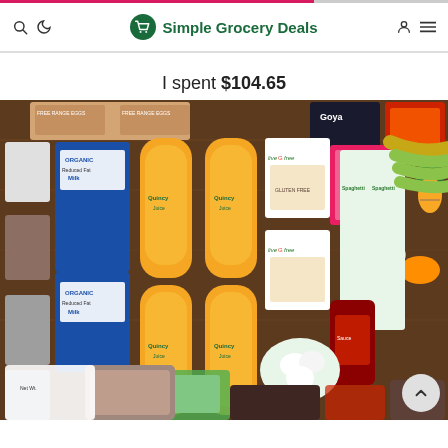Simple Grocery Deals
I spent $104.65
[Figure (photo): Flat lay photo of a large grocery haul on a wooden surface, including orange juice bottles, organic milk cartons, eggs, bananas, mangoes, cauliflower, pasta, Goya products, cookies, sauces, and other grocery items.]